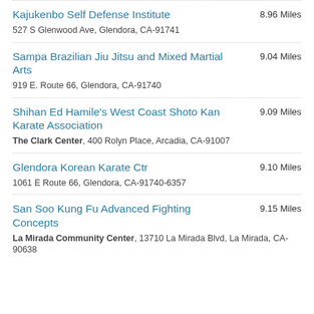Kajukenbo Self Defense Institute
8.96 Miles
527 S Glenwood Ave, Glendora, CA-91741
Sampa Brazilian Jiu Jitsu and Mixed Martial Arts
9.04 Miles
919 E. Route 66, Glendora, CA-91740
Shihan Ed Hamile's West Coast Shoto Kan Karate Association
9.09 Miles
The Clark Center, 400 Rolyn Place, Arcadia, CA-91007
Glendora Korean Karate Ctr
9.10 Miles
1061 E Route 66, Glendora, CA-91740-6357
San Soo Kung Fu Advanced Fighting Concepts
9.15 Miles
La Mirada Community Center, 13710 La Mirada Blvd, La Mirada, CA-90638